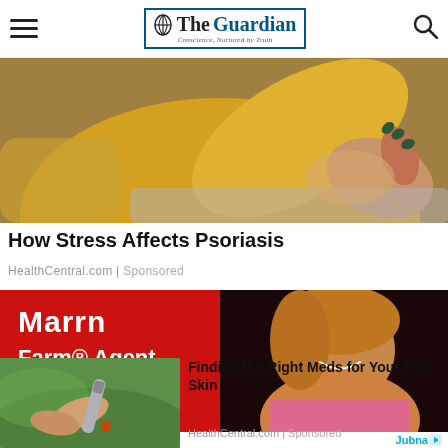The Guardian — Conscience, Nurtured by Truth
[Figure (photo): Close-up photo of a person in a yellow knit sweater scratching or touching their arm/wrist area, suggesting skin irritation, against a grey background]
How Stress Affects Psoriasis
HealthCentral.com | Sponsored
[Figure (photo): State Farm advertisement banner with red background showing text 'Farm Agent -s-Glover' and a smiling woman with blonde highlighted hair in pink clothing]
[Figure (photo): Close-up photo of a hand holding a small medical device/pen near fingertips on green background]
Finding the Right Meds for Your PsO Skin
HealthCentral.com | Sponsored
Jubna